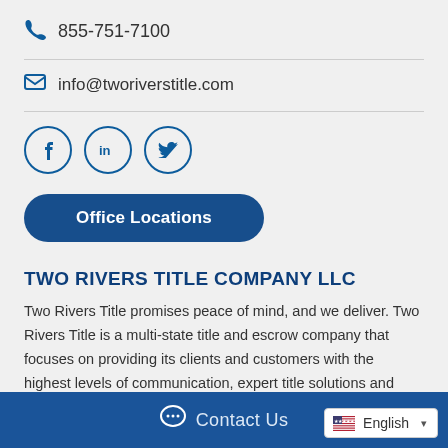855-751-7100
info@tworiverstitle.com
[Figure (other): Social media icon buttons: Facebook (f), LinkedIn (in), Twitter (bird) — circular outlined icons in navy blue]
Office Locations
TWO RIVERS TITLE COMPANY LLC
Two Rivers Title promises peace of mind, and we deliver. Two Rivers Title is a multi-state title and escrow company that focuses on providing its clients and customers with the highest levels of communication, expert title solutions and creative closing options. With an unmatched level of professionalism, genuine caring and the ability to creatively resolve even the most challenging issues, Two Rivers Title has earned a
Contact Us